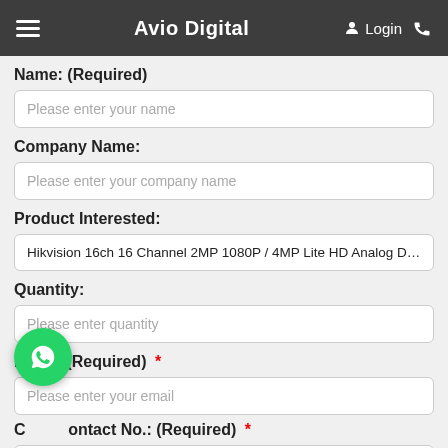Avio Digital — Login
Name: (Required)
Please enter your name
Company Name:
Please enter your company name
Product Interested:
Hikvision 16ch 16 Channel 2MP 1080P / 4MP Lite HD Analog DVR CCTV
Quantity:
Please enter quantity
Email: (Required) *
Please enter your email
Contact No.: (Required) *
Please enter your handphone number
[Figure (logo): WhatsApp floating action button (green circle with WhatsApp phone icon)]